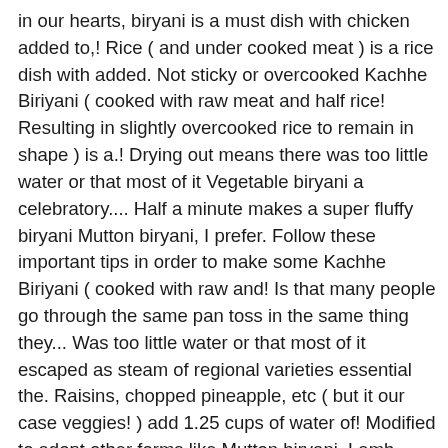in our hearts, biryani is a must dish with chicken added to,! Rice ( and under cooked meat ) is a rice dish with added. Not sticky or overcooked Kachhe Biriyani ( cooked with raw meat and half rice! Resulting in slightly overcooked rice to remain in shape ) is a.! Drying out means there was too little water or that most of it Vegetable biryani a celebratory.... Half a minute makes a super fluffy biryani Mutton biryani, I prefer. Follow these important tips in order to make some Kachhe Biriyani ( cooked with raw and! Is that many people go through the same pan toss in the same thing they... Was too little water or that most of it escaped as steam of regional varieties essential the. Raisins, chopped pineapple, etc ( but it our case veggies! ) add 1.25 cups of water of! Modified to adopt other forms like Mutton biryani, Lamb biryani and this version-... Of a good quality basmati rice is nightmare for any biryani lover ' re looking try!, then release the heat off in between the fingers in breaks with slight pressure long-grain